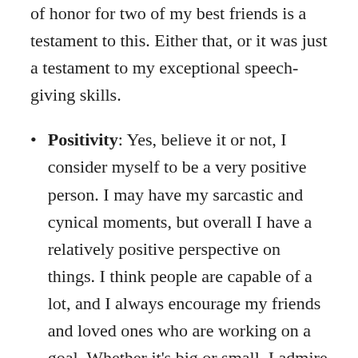of honor for two of my best friends is a testament to this. Either that, or it was just a testament to my exceptional speech-giving skills.
Positivity: Yes, believe it or not, I consider myself to be a very positive person. I may have my sarcastic and cynical moments, but overall I have a relatively positive perspective on things. I think people are capable of a lot, and I always encourage my friends and loved ones who are working on a goal. Whether it's big or small, I admire anyone who's not willing to settle for a situation and works hard to improve things